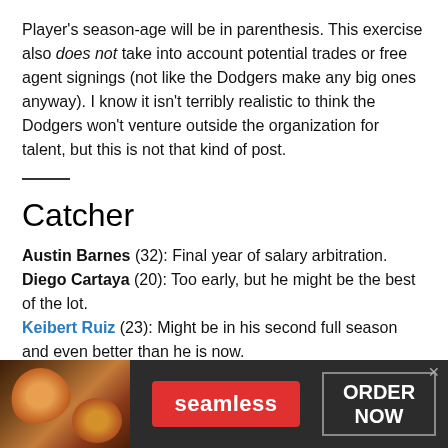Player's season-age will be in parenthesis. This exercise also does not take into account potential trades or free agent signings (not like the Dodgers make any big ones anyway). I know it isn't terribly realistic to think the Dodgers won't venture outside the organization for talent, but this is not that kind of post.
Catcher
Austin Barnes (32): Final year of salary arbitration. Diego Cartaya (20): Too early, but he might be the best of the lot. Keibert Ruiz (23): Might be in his second full season and even better than he is now.
[Figure (other): Seamless food delivery advertisement banner showing pizza image on left, red Seamless button in center, and ORDER NOW button on right with dark background and close X button]